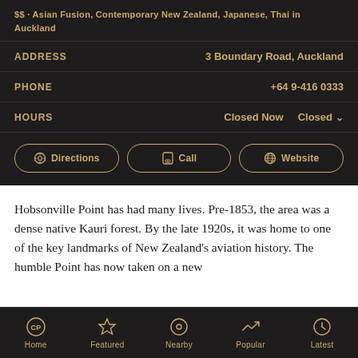$$ · Asian Fusion, Contemporary New Zealand, Japanese, Thai in Auckland
| ADDRESS | 3 Boundary Road, Auckland |
| PHONE | +64 9-416 0333 |
| HOURS | Closed Now   Closed ∨ |
Hobsonville Point has had many lives. Pre-1853, the area was a dense native Kauri forest. By the late 1920s, it was home to one of the key landmarks of New Zealand's aviation history. The humble Point has now taken on a new…
Home   Featured   Nearby   Popular   Latest